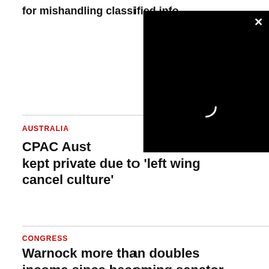for mishandling classified info
[Figure (screenshot): Black video overlay panel with a loading spinner (white crescent arc) and a white X close button in the upper right corner]
AUSTRALIA
CPAC Aust... kept private due to 'left wing cancel culture'
CONGRESS
Warnock more than doubles income since becoming senator